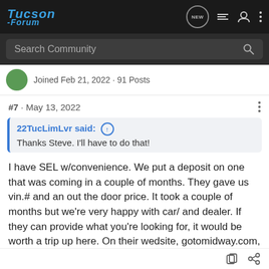Tucson -Forum
Search Community
Joined Feb 21, 2022 · 91 Posts
#7 · May 13, 2022
22TucLimLvr said: ↑
Thanks Steve. I'll have to do that!
I have SEL w/convenience. We put a deposit on one that was coming in a couple of months. They gave us vin.# and an out the door price. It took a couple of months but we're very happy with car/ and dealer. If they can provide what you're looking for, it would be worth a trip up here. On their wedsite, gotomidway.com, they show what the have coming and when